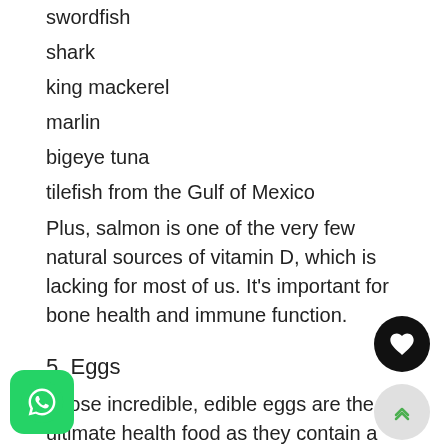swordfish
shark
king mackerel
marlin
bigeye tuna
tilefish from the Gulf of Mexico
Plus, salmon is one of the very few natural sources of vitamin D, which is lacking for most of us. It's important for bone health and immune function.
5. Eggs
Those incredible, edible eggs are the ultimate health food as they contain a little bit of almost every nutrient we need. A large egg contains about 80 calories, high-quality protein, fat, and many vitamins and minerals.